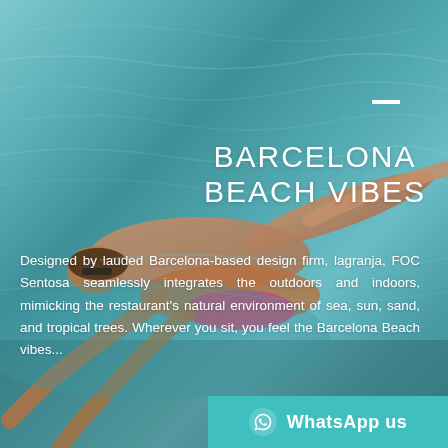[Figure (photo): Aerial/overhead photo of a woman in a bikini swimming/floating in turquoise blue ocean water, viewed from above. The water has gentle ripples and a teal-blue color.]
BARCELONA BEACH VIBES
Designed by lauded Barcelona-based design firm, lagranja, FOC Sentosa seamlessly integrates the outdoors and indoors, mimicking the restaurant's natural environment of sea, sun, sand, and tropical trees. Wherever you sit, you feel the Barcelona Beach vibes...
WhatsApp us